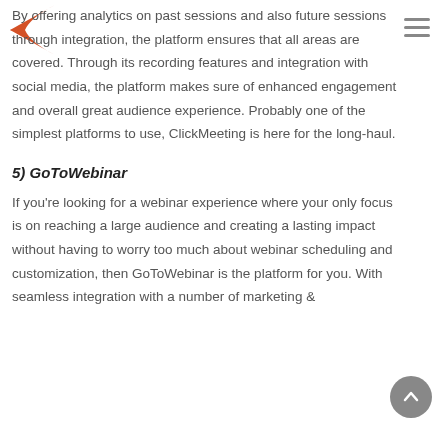[Figure (logo): Red/orange swoosh logo mark in the top-left corner]
By offering analytics on past sessions and also future sessions through integration, the platform ensures that all areas are covered. Through its recording features and integration with social media, the platform makes sure of enhanced engagement and overall great audience experience. Probably one of the simplest platforms to use, ClickMeeting is here for the long-haul.
5) GoToWebinar
If you're looking for a webinar experience where your only focus is on reaching a large audience and creating a lasting impact without having to worry too much about webinar scheduling and customization, then GoToWebinar is the platform for you. With seamless integration with a number of marketing &